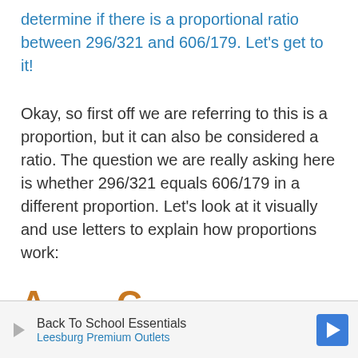determine if there is a proportional ratio between 296/321 and 606/179. Let's get to it!
Okay, so first off we are referring to this is a proportion, but it can also be considered a ratio. The question we are really asking here is whether 296/321 equals 606/179 in a different proportion. Let's look at it visually and use letters to explain how proportions work:
[Figure (other): Advertisement banner: Back To School Essentials - Leesburg Premium Outlets with play icon and navigation arrow icon]